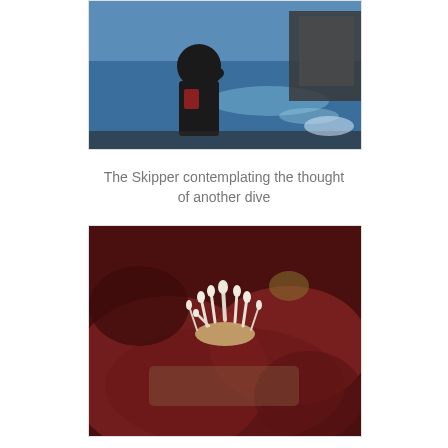[Figure (photo): A person in a black wetsuit/jacket sitting on a boat, looking out at the blue ocean water with a rocky structure visible in the background.]
The Skipper contemplating the thought of another dive
[Figure (photo): Close-up macro photograph of a Cratena simba, an aeolid nudibranch, on a red substrate. The creature has white cerata (projections) visible against a dark red/maroon background.]
Cratena simba - the only aeolid sighted